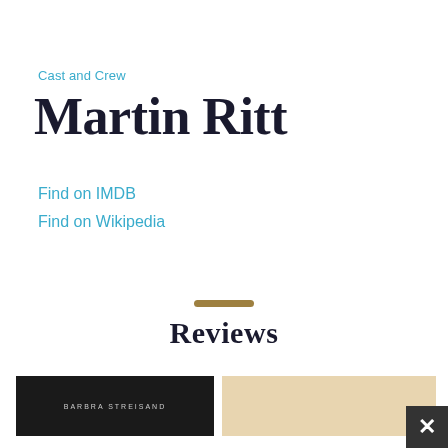Cast and Crew
Martin Ritt
Find on IMDB
Find on Wikipedia
Reviews
[Figure (photo): Thumbnail image with dark background showing BARBRA STREISAND text]
[Figure (photo): Thumbnail image with warm beige/cream tone]
[Figure (other): Close button X icon in bottom right corner]